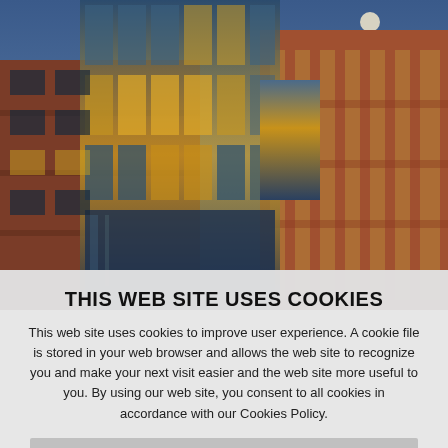[Figure (photo): Modern commercial office building with glass curtain wall facade and brick exterior photographed at dusk/night with interior lights on and a moon visible in the blue sky]
THIS WEB SITE USES COOKIES
This web site uses cookies to improve user experience. A cookie file is stored in your web browser and allows the web site to recognize you and make your next visit easier and the web site more useful to you. By using our web site, you consent to all cookies in accordance with our Cookies Policy.
I agree | Cookies Policy